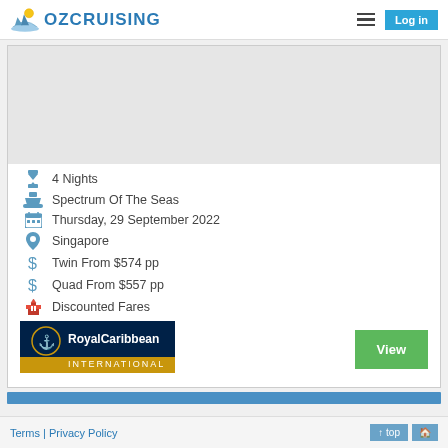OZCRUISING — Log in
[Figure (logo): OzCruising logo with ship and sun icon]
4 Nights
Spectrum Of The Seas
Thursday, 29 September 2022
Singapore
Twin From $574 pp
Quad From $557 pp
Discounted Fares
[Figure (logo): Royal Caribbean International logo]
View
Terms | Privacy Policy  ↑ top 🏠